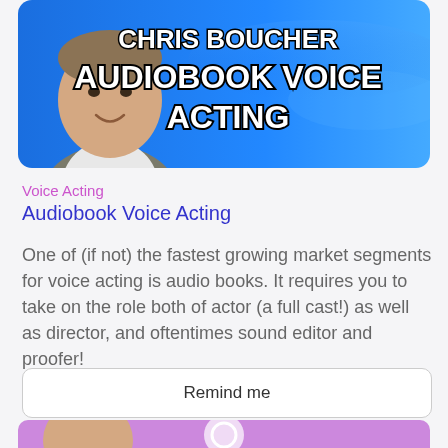[Figure (illustration): Banner image of a man (Chris Boucher) on a blue gradient background with bold text reading 'CHRIS BOUCHER AUDIOBOOK VOICE ACTING']
Voice Acting
Audiobook Voice Acting
One of (if not) the fastest growing market segments for voice acting is audio books. It requires you to take on the role both of actor (a full cast!) as well as director, and oftentimes sound editor and proofer!
Remind me
[Figure (photo): Partial view of another course card with purple background, partially cut off at the bottom of the page]